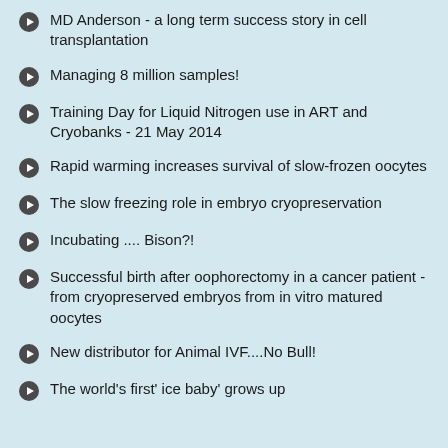MD Anderson - a long term success story in cell transplantation
Managing 8 million samples!
Training Day for Liquid Nitrogen use in ART and Cryobanks - 21 May 2014
Rapid warming increases survival of slow-frozen oocytes
The slow freezing role in embryo cryopreservation
Incubating .... Bison?!
Successful birth after oophorectomy in a cancer patient - from cryopreserved embryos from in vitro matured oocytes
New distributor for Animal IVF....No Bull!
The world's first' ice baby' grows up